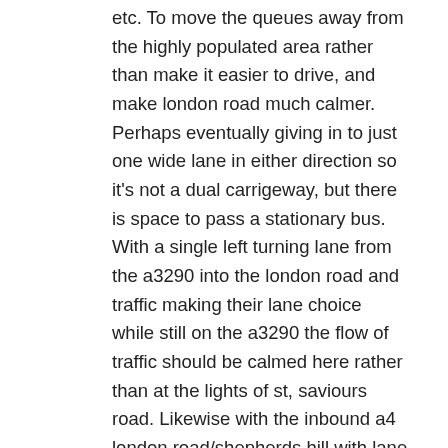etc. To move the queues away from the highly populated area rather than make it easier to drive, and make london road much calmer. Perhaps eventually giving in to just one wide lane in either direction so it's not a dual carrigeway, but there is space to pass a stationary bus. With a single left turning lane from the a3290 into the london road and traffic making their lane choice while still on the a3290 the flow of traffic should be calmed here rather than at the lights of st, saviours road. Likewise with the inbound a4 london road/shepherds hill with lane choice of town bound or thames valley park bound made before the roundabout. There isn't the need for so much roadspace and overtaking opportunity between the